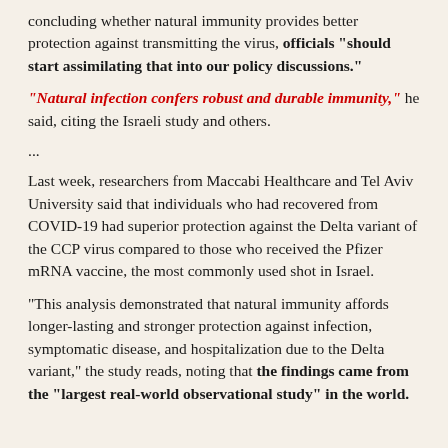concluding whether natural immunity provides better protection against transmitting the virus, officials "should start assimilating that into our policy discussions."
"Natural infection confers robust and durable immunity," he said, citing the Israeli study and others.
...
Last week, researchers from Maccabi Healthcare and Tel Aviv University said that individuals who had recovered from COVID-19 had superior protection against the Delta variant of the CCP virus compared to those who received the Pfizer mRNA vaccine, the most commonly used shot in Israel.
"This analysis demonstrated that natural immunity affords longer-lasting and stronger protection against infection, symptomatic disease, and hospitalization due to the Delta variant," the study reads, noting that the findings came from the "largest real-world observational study" in the world.